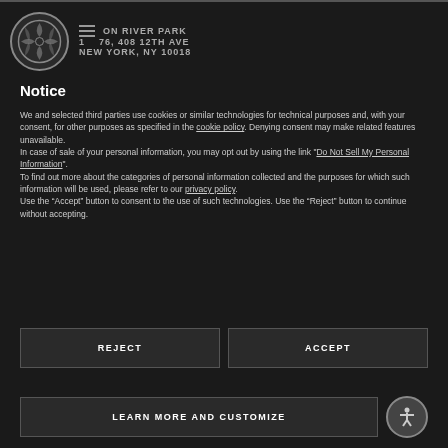Hudson River Park | 1 76, 408 12TH AVE NEW YORK, NY 10018
Notice
We and selected third parties use cookies or similar technologies for technical purposes and, with your consent, for other purposes as specified in the cookie policy. Denying consent may make related features unavailable.
In case of sale of your personal information, you may opt out by using the link "Do Not Sell My Personal Information".
To find out more about the categories of personal information collected and the purposes for which such information will be used, please refer to our privacy policy.
Use the “Accept” button to consent to the use of such technologies. Use the “Reject” button to continue without accepting.
REJECT
ACCEPT
LEARN MORE AND CUSTOMIZE